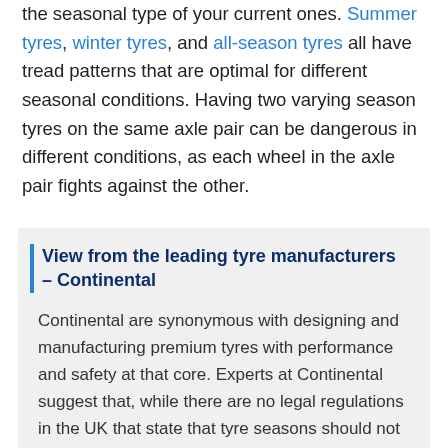the seasonal type of your current ones. Summer tyres, winter tyres, and all-season tyres all have tread patterns that are optimal for different seasonal conditions. Having two varying season tyres on the same axle pair can be dangerous in different conditions, as each wheel in the axle pair fights against the other.
View from the leading tyre manufacturers – Continental
Continental are synonymous with designing and manufacturing premium tyres with performance and safety at that core. Experts at Continental suggest that, while there are no legal regulations in the UK that state that tyre seasons should not be mixed, the practice is